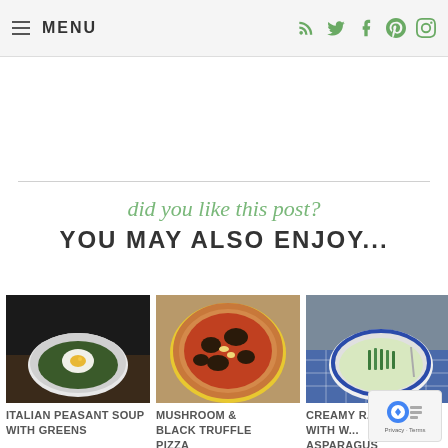MENU
did you like this post?
YOU MAY ALSO ENJOY...
[Figure (photo): Bowl of Italian peasant soup with greens and a fried egg on top]
ITALIAN PEASANT SOUP WITH GREENS
[Figure (photo): Mushroom and black truffle pizza on a yellow plate]
MUSHROOM & BLACK TRUFFLE PIZZA
[Figure (photo): Creamy soup in a blue and white bowl with asparagus and herbs]
CREAMY R... WITH W... ASPARAGUS